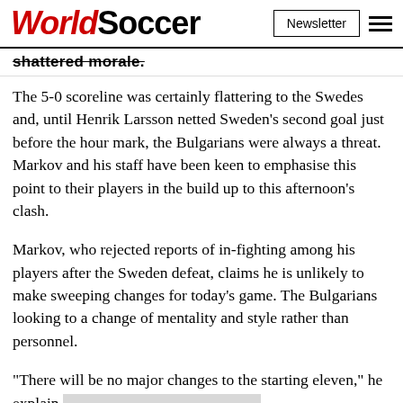WorldSoccer | Newsletter
shattered morale.
The 5-0 scoreline was certainly flattering to the Swedes and, until Henrik Larsson netted Sweden’s second goal just before the hour mark, the Bulgarians were always a threat. Markov and his staff have been keen to emphasise this point to their players in the build up to this afternoon’s clash.
Markov, who rejected reports of in-fighting among his players after the Sweden defeat, claims he is unlikely to make sweeping changes for today’s game. The Bulgarians looking to a change of mentality and style rather than personnel.
“There will be no major changes to the starting eleven,” he explain